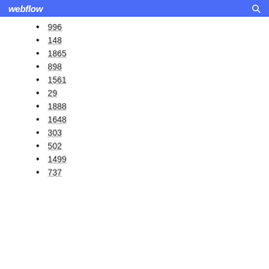webflow
996
148
1865
898
1561
29
1888
1648
303
502
1499
737